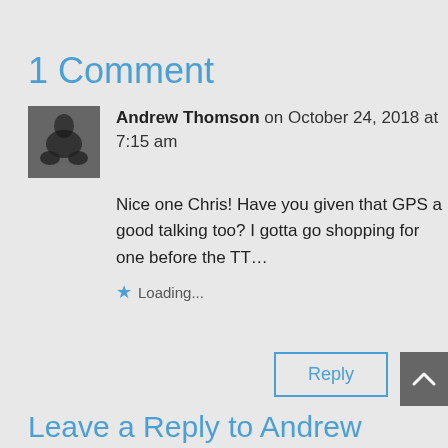1 Comment
Andrew Thomson on October 24, 2018 at 7:15 am
Nice one Chris! Have you given that GPS a good talking too? I gotta go shopping for one before the TT…
Loading...
Reply
Leave a Reply to Andrew Thomson
Cancel reply